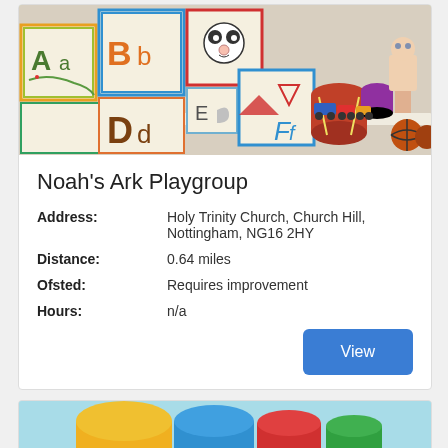[Figure (photo): Photo of colorful alphabet learning blocks (Aa, Bb, Dd, E, Ff) with toys and a wooden train set on a white shelf in the background.]
Noah's Ark Playgroup
Address: Holy Trinity Church, Church Hill, Nottingham, NG16 2HY
Distance: 0.64 miles
Ofsted: Requires improvement
Hours: n/a
[Figure (photo): Partial photo showing colorful stacking toy pieces (yellow, blue, red, green) on a light blue background.]